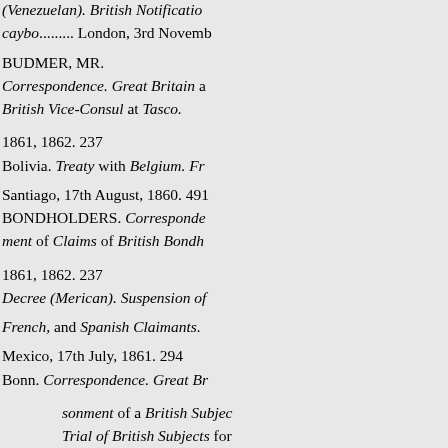(Venezuelan). British Notification caybo......... London, 3rd November
BUDMER, MR.
Correspondence. Great Britain and British Vice-Consul at Tasco.
1861, 1862. 237
Bolivia. Treaty with Belgium. Fr Santiago, 17th August, 1860. 491
BONDHOLDERS. Correspondence. ment of Claims of British Bondh 1861, 1862. 237
Decree (Merican). Suspension of French, and Spanish Claimants. Mexico, 17th July, 1861. 294
Bonn. Correspondence. Great Br sonment of a British Subject Trial of British Subjects for 1860, 1861. 64
BOUNDARIES. Decree (French Spain of 14th April, 1862.